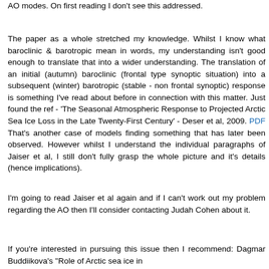AO modes. On first reading I don't see this addressed.
The paper as a whole stretched my knowledge. Whilst I know what baroclinic & barotropic mean in words, my understanding isn't good enough to translate that into a wider understanding. The translation of an initial (autumn) baroclinic (frontal type synoptic situation) into a subsequent (winter) barotropic (stable - non frontal synoptic) response is something I've read about before in connection with this matter. Just found the ref - 'The Seasonal Atmospheric Response to Projected Arctic Sea Ice Loss in the Late Twenty-First Century' - Deser et al, 2009. PDF That's another case of models finding something that has later been observed. However whilst I understand the individual paragraphs of Jaiser et al, I still don't fully grasp the whole picture and it's details (hence implications).
I'm going to read Jaiser et al again and if I can't work out my problem regarding the AO then I'll consider contacting Judah Cohen about it.
If you're interested in pursuing this issue then I recommend: Dagmar Buddiikova's "Role of Arctic sea ice in...